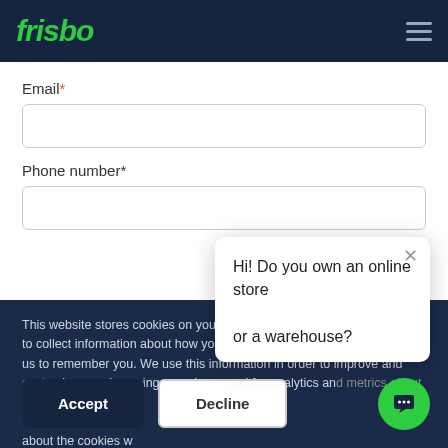frisbo
Email*
Phone number*
This website stores cookies on your computer. These cookies are used to collect information about how you interact with our website and allow us to remember you. We use this information in order to improve and customize your browsing experience and for analytics and metrics about our frisbo- both on this website and about the cookies w
If you decline, your i when you visit this w used in your browse not to be tracked.
Hi! Do you own an online store or a warehouse?
Accept
Decline